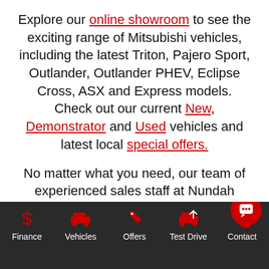Explore our online showroom to see the exciting range of Mitsubishi vehicles, including the latest Triton, Pajero Sport, Outlander, Outlander PHEV, Eclipse Cross, ASX and Express models. Check out our current New, Demonstrator and Used vehicles and latest local special offers.
No matter what you need, our team of experienced sales staff at Nundah Mitsubishi are here to help. Visit Nundah Mitsubishi today for personal help with your questions, schedule a service or to book a test drive. Get started here. You can do it all at your leisure, here on our Nundah Mitsubishi site.
Finance | Vehicles | Offers | Test Drive | Contact